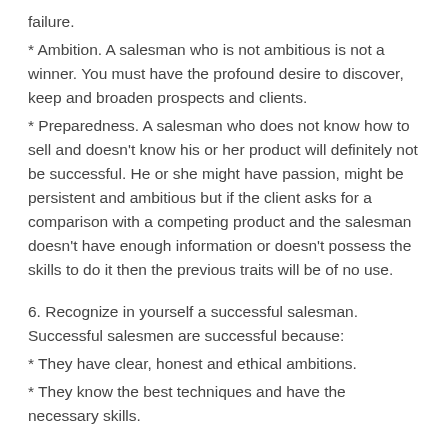failure.
* Ambition. A salesman who is not ambitious is not a winner. You must have the profound desire to discover, keep and broaden prospects and clients.
* Preparedness. A salesman who does not know how to sell and doesn’t know his or her product will definitely not be successful. He or she might have passion, might be persistent and ambitious but if the client asks for a comparison with a competing product and the salesman doesn’t have enough information or doesn’t possess the skills to do it then the previous traits will be of no use.
6. Recognize in yourself a successful salesman. Successful salesmen are successful because:
* They have clear, honest and ethical ambitions.
* They know the best techniques and have the necessary skills.